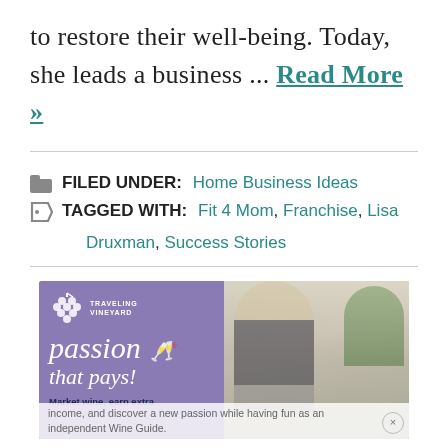to restore their well-being. Today, she leads a business ... Read More »
FILED UNDER: Home Business Ideas
TAGGED WITH: Fit 4 Mom, Franchise, Lisa Druxman, Success Stories
[Figure (photo): Advertisement for Traveling Vineyard showing 'passion that pays!' text on purple background with photo of women pouring wine. Bottom text: Market wine, earn extra income, and discover a new passion while having fun as an independent Wine Guide.]